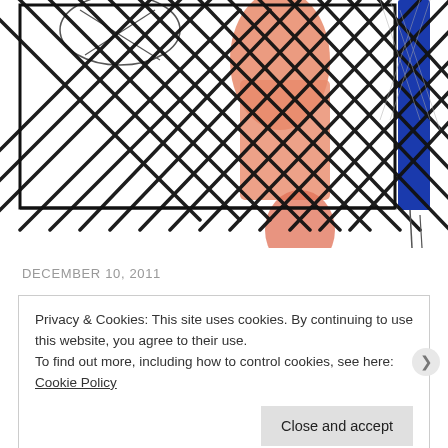[Figure (illustration): Hand-drawn sketch showing a figure or person behind a bold crosshatch/grid pattern in black marker, with salmon/orange colored shapes visible through the grid, and a bright blue vertical stripe on the right side. The drawing has a loose, gestural quality with overlapping diagonal lines forming a lattice pattern.]
DECEMBER 10, 2011
Privacy & Cookies: This site uses cookies. By continuing to use this website, you agree to their use. To find out more, including how to control cookies, see here: Cookie Policy
Close and accept